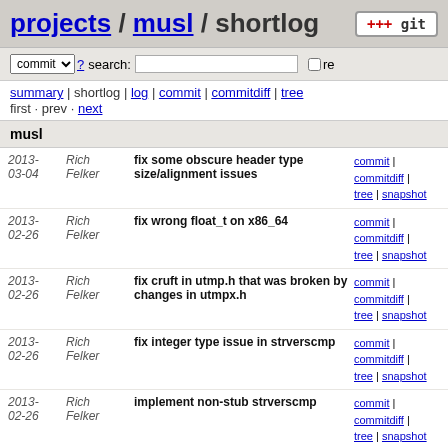projects / musl / shortlog
commit search: re
summary | shortlog | log | commit | commitdiff | tree
first · prev · next
musl
| date | author | message | links |
| --- | --- | --- | --- |
| 2013-03-04 | Rich Felker | fix some obscure header type size/alignment issues | commit | commitdiff | tree | snapshot |
| 2013-02-26 | Rich Felker | fix wrong float_t on x86_64 | commit | commitdiff | tree | snapshot |
| 2013-02-26 | Rich Felker | fix cruft in utmp.h that was broken by changes in utmpx.h | commit | commitdiff | tree | snapshot |
| 2013-02-26 | Rich Felker | fix integer type issue in strverscmp | commit | commitdiff | tree | snapshot |
| 2013-02-26 | Rich Felker | implement non-stub strverscmp | commit | commitdiff | tree | snapshot |
| 2013-02-26 | Rich Felker | namespace conformance to latest standards in strings.h | commit | commitdiff | tree | snapshot |
| 2013-02-22 | Rich Felker | replace stub with working strcasestr | commit | commitdiff | tree | snapshot |
| 2013-02-22 | Rich Felker | fix wrong return value from wmemmove on forward copies | commit | commitdiff | tree | snapshot |
| 2013- | rofl0r | scsci/sg.h: fix usage of undefined | commit | commitdiff |